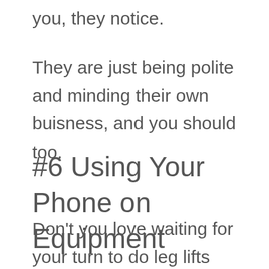you, they notice.
They are just being polite and minding their own buisness, and you should too.
#6 Using Your Phone on Equipment
Don't you love waiting for your turn to do leg lifts while the occupier scrolls endlessly through